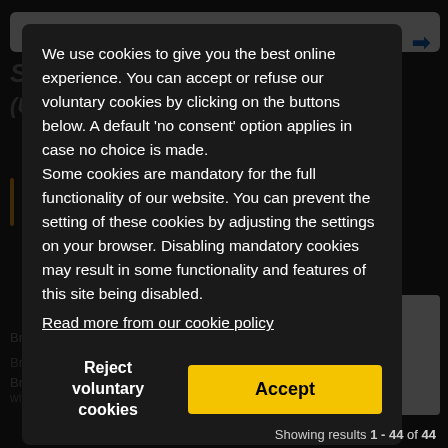We use cookies to give you the best online experience. You can accept or refuse our voluntary cookies by clicking on the buttons below. A default 'no consent' option applies in case no choice is made. Some cookies are mandatory for the full functionality of our website. You can prevent the setting of these cookies by adjusting the settings on your browser. Disabling mandatory cookies may result in some functionality and features of this site being disabled.
Read more from our cookie policy
Reject voluntary cookies
Accept
Showing results 1 - 44 of 44